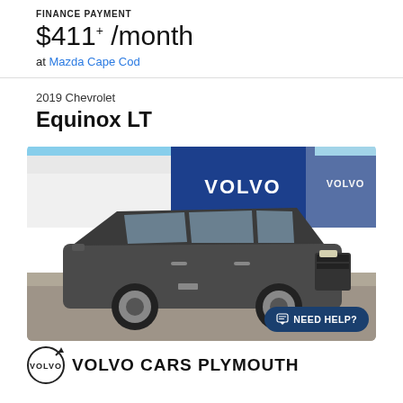FINANCE PAYMENT
$411+ /month
at Mazda Cape Cod
2019 Chevrolet
Equinox LT
[Figure (photo): 2019 Chevrolet Equinox LT dark gray SUV parked in front of a Volvo dealership building with blue Volvo signage]
NEED HELP?
VOLVO CARS PLYMOUTH